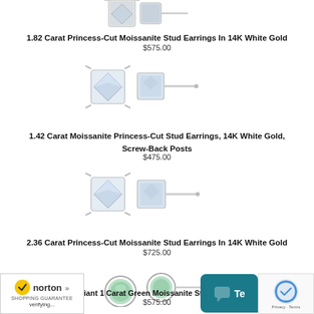[Figure (photo): Product 1 top - partially visible princess-cut moissanite stud earrings in 14K white gold]
1.82 Carat Princess-Cut Moissanite Stud Earrings In 14K White Gold
$575.00
[Figure (photo): 1.42 Carat Moissanite Princess-Cut Stud Earrings - pair showing loose stone and set earring with post]
1.42 Carat Moissanite Princess-Cut Stud Earrings, 14K White Gold, Screw-Back Posts
$475.00
[Figure (photo): 2.36 Carat Princess-Cut Moissanite Stud Earrings - pair showing loose stone and set earring with post]
2.36 Carat Princess-Cut Moissanite Stud Earrings In 14K White Gold
$725.00
[Figure (photo): Brilliant 1 Carat Green Moissanite Stud Earrings - partially visible at bottom]
Brilliant 1 Carat Green Moissanite Stud Earrings
$575.00
[Figure (logo): Norton Shopping Guarantee badge with verifying text]
[Figure (other): Chat support button overlay]
[Figure (other): reCAPTCHA privacy logo overlay]